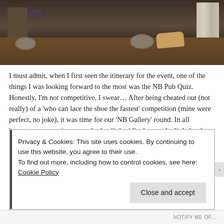[Figure (photo): A dark pub interior scene showing a wooden table with bowls, bread on a cutting board, playing cards. A person in patterned clothing is visible on the left side, with a radiator on the right wall.]
I must admit, when I first seen the itinerary for the event, one of the things I was looking forward to the most was the NB Pub Quiz. Honestly, I'm not competitive, I swear… After being cheated out (not really) of a 'who can lace the shoe the fastest' competition (mine were perfect, no joke), it was time for our 'NB Gallery' round. In all honesty, our questions were both a little ridiculous and a little hard, but it made for good entertainment anyway. The scores were totalled up, and our team, the 'Chosen Few' were overall winners, with only something like three points separating the teams. We were presented with this lovely engraved tankard, a really neat prize for sure. Big shout to the quiz master Joe who done a solid job!
Privacy & Cookies: This site uses cookies. By continuing to use this website, you agree to their use.
To find out more, including how to control cookies, see here: Cookie Policy
Close and accept